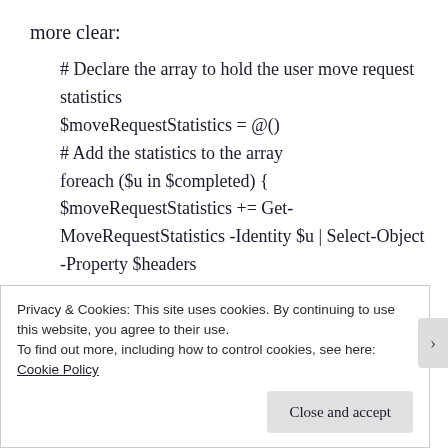more clear:
# Declare the array to hold the user move request statistics
$moveRequestStatistics = @()
# Add the statistics to the array
foreach ($u in $completed) {
$moveRequestStatistics += Get-MoveRequestStatistics -Identity $u | Select-Object -Property $headers
}
Privacy & Cookies: This site uses cookies. By continuing to use this website, you agree to their use.
To find out more, including how to control cookies, see here:
Cookie Policy
Close and accept